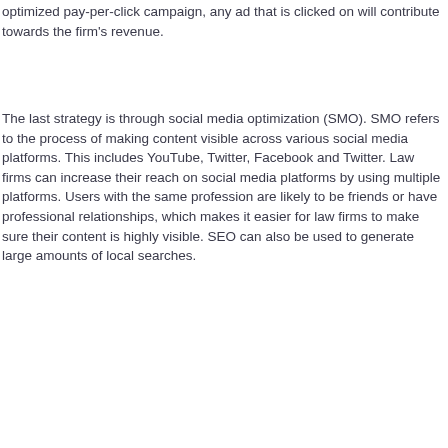optimized pay-per-click campaign, any ad that is clicked on will contribute towards the firm's revenue.
The last strategy is through social media optimization (SMO). SMO refers to the process of making content visible across various social media platforms. This includes YouTube, Twitter, Facebook and Twitter. Law firms can increase their reach on social media platforms by using multiple platforms. Users with the same profession are likely to be friends or have professional relationships, which makes it easier for law firms to make sure their content is highly visible. SEO can also be used to generate large amounts of local searches.